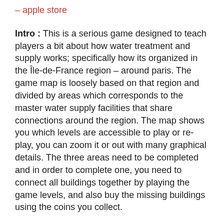– apple store
Intro : This is a serious game designed to teach players a bit about how water treatment and supply works; specifically how its organized in the Île-de-France region – around paris. The game map is loosely based on that region and divided by areas which corresponds to the master water supply facilities that share connections around the region. The map shows you which levels are accessible to play or re-play, you can zoom it or out with many graphical details. The three areas need to be completed and in order to complete one, you need to connect all buildings together by playing the game levels, and also buy the missing buildings using the coins you collect.
This is not a management game however, you do not have to save money or buy things in advance, it is balanced so you can easily get to the end without worrying too much. The action of buying or clicking buildings on the map will